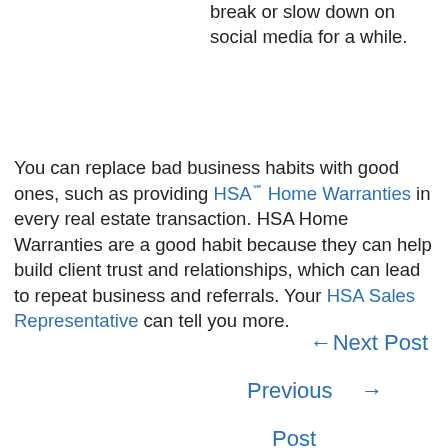with people, it may be time to take a break or slow down on social media for a while.
You can replace bad business habits with good ones, such as providing HSA℠ Home Warranties in every real estate transaction. HSA Home Warranties are a good habit because they can help build client trust and relationships, which can lead to repeat business and referrals. Your HSA Sales Representative can tell you more.
← Next Post
Previous Post →